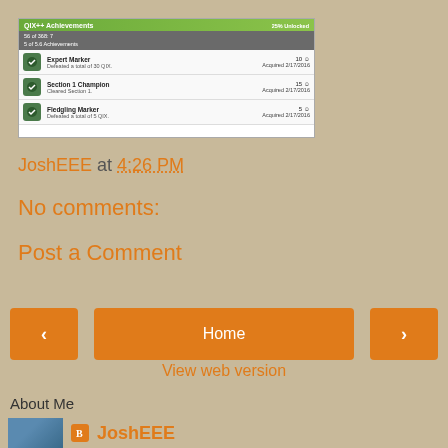[Figure (screenshot): QIX++ Achievements screenshot showing Expert Marker, Section 1 Champion, and Fledgling Marker achievements with dates acquired 2/17/2016]
JoshEEE at 4:26 PM
No comments:
Post a Comment
< Home >
View web version
About Me
JoshEEE